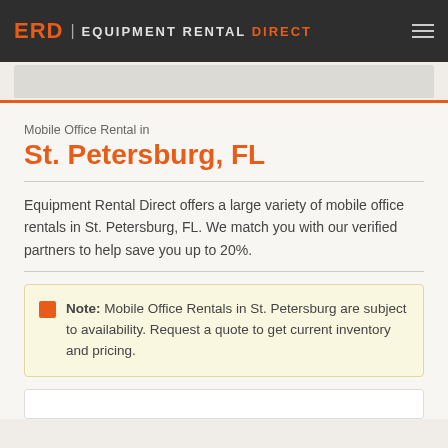ERD | EQUIPMENT RENTAL DIRECT
Mobile Office Rental in
St. Petersburg, FL
Equipment Rental Direct offers a large variety of mobile office rentals in St. Petersburg, FL. We match you with our verified partners to help save you up to 20%.
Note: Mobile Office Rentals in St. Petersburg are subject to availability. Request a quote to get current inventory and pricing.